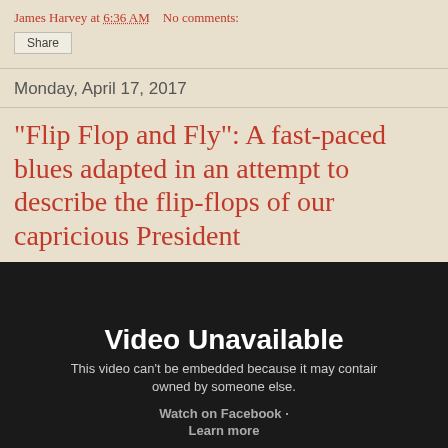James Harvey at 6:36 AM   No comments:
Share
Monday, April 17, 2017
"Flip Flop and Fly": A fast-paced blues adapted in an attempt to describe the flip-flops of our capricious President
[Figure (screenshot): Video unavailable embed placeholder with dark background. Text reads: Video Unavailable. This video can't be embedded because it may contain content owned by someone else. Watch on Facebook · Learn more]